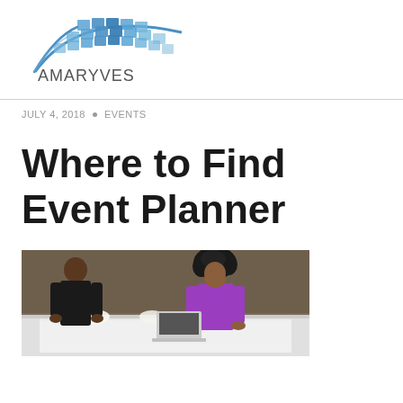[Figure (logo): Amaryves company logo with blue arc/grid design above the text AMARYVES]
JULY 4, 2018 • EVENTS
Where to Find Event Planner
[Figure (photo): Two event planners working at a table in a banquet hall; one person in black on the left, one woman in purple on the right with curly hair, looking down at materials on a white cloth-covered table]